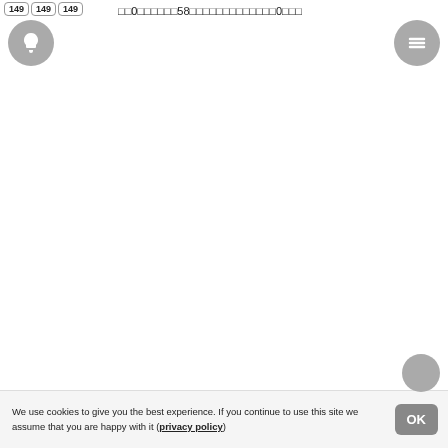149 149 149 □□0□□□□□□58□□□□□□□□□□□□□0□□□
We use cookies to give you the best experience. If you continue to use this site we assume that you are happy with it (privacy policy)